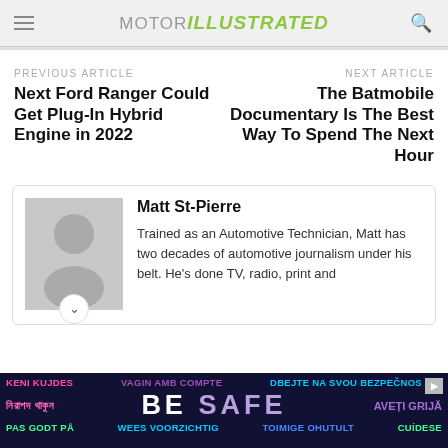MOTOR ILLUSTRATED
PREVIOUS ARTICLE
Next Ford Ranger Could Get Plug-In Hybrid Engine in 2022
NEXT ARTICLE
The Batmobile Documentary Is The Best Way To Spend The Next Hour
Matt St-Pierre
Trained as an Automotive Technician, Matt has two decades of automotive journalism under his belt. He's done TV, radio, print and
[Figure (illustration): Advertisement banner: BE SAFE multilingual safety message on dark background]
KENI KUJDES VAGIN AMB COMPTE DBEJTE NA SVOU BEZPEČNOS নিরাপদ থাকুন BE SAFE AVEȚI GRIJĂ PAS GODT PÅ WEES VOORZICHTIG TOIMIGE OHUTULT CUÍDESE